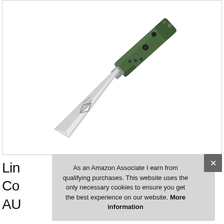[Figure (photo): A folding pocket knife with a green G10 handle and a silver/satin finish blade. The blade has a logo engraved on it. The knife is shown diagonally with the blade open, pointing to the lower left. Text on the blade reads 'MORA 1 EDGE'.]
Lin
Co
AU
As an Amazon Associate I earn from qualifying purchases. This website uses the only necessary cookies to ensure you get the best experience on our website. More information